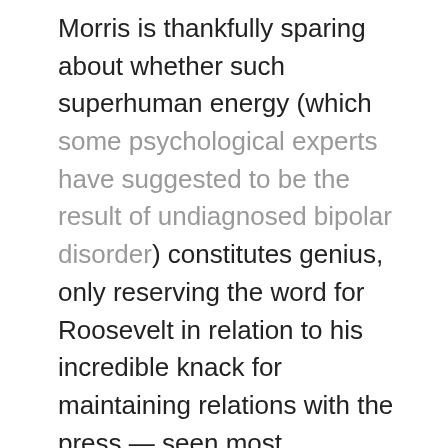Morris is thankfully sparing about whether such superhuman energy (which some psychological experts have suggested to be the result of undiagnosed bipolar disorder) constitutes genius, only reserving the word for Roosevelt in relation to his incredible knack for maintaining relations with the press — seen most prominently in his fulsome campaign speeches and the way that he courted journalistic reformer Jacob Riis during his days as New York Police Commissioner and invited Riis to accompany him on his nighttime sweeps through various beats, where Roosevelt micromanaged slumbering cops and any other layabout he could find. The more fascinating question is how such an exuberant young autodidact, a voracious reader with preternatural recall eagerly conducting dissections around the house when not running and rowing his